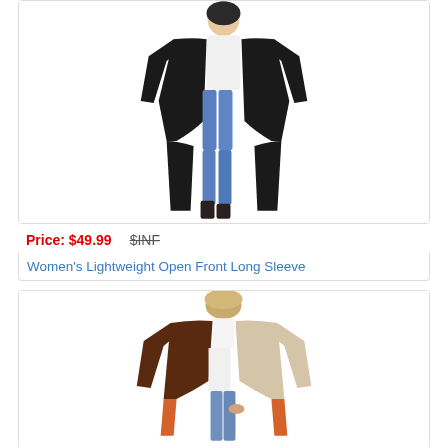[Figure (photo): Woman wearing a long black open-front cardigan over a white top and blue jeans with black boots, walking pose]
Price: $49.99   $INF
Women's Lightweight Open Front Long Sleeve
[Figure (photo): Woman wearing a colorblock open-front cardigan in brown, beige, and orange tones, over a white top and blue jeans]